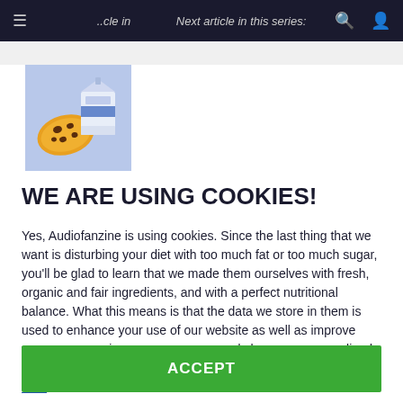≡  ne  Next article in this series:  🔍  👤
[Figure (illustration): Cookie consent modal illustration showing a cartoon cookie and a milk carton on a light blue background]
WE ARE USING COOKIES!
Yes, Audiofanzine is using cookies. Since the last thing that we want is disturbing your diet with too much fat or too much sugar, you'll be glad to learn that we made them ourselves with fresh, organic and fair ingredients, and with a perfect nutritional balance. What this means is that the data we store in them is used to enhance your use of our website as well as improve your user experience on our pages and show you personalised ads (learn more). To configure your cookie preferences, click here.
ACCEPT